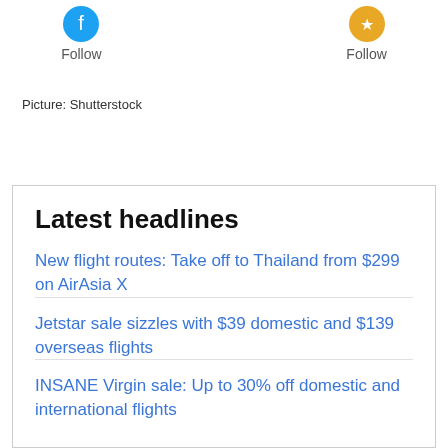[Figure (other): Two social media follow buttons with icons — one blue (left) and one gold/orange (right), each labeled 'Follow']
Picture: Shutterstock
Latest headlines
New flight routes: Take off to Thailand from $299 on AirAsia X
Jetstar sale sizzles with $39 domestic and $139 overseas flights
INSANE Virgin sale: Up to 30% off domestic and international flights